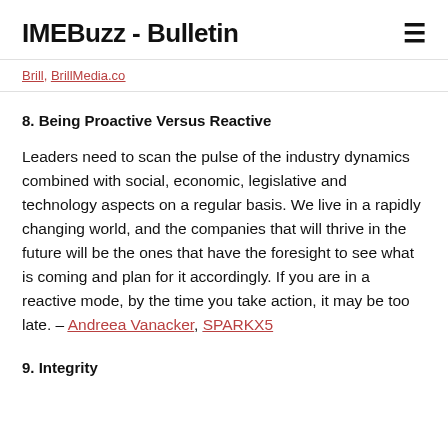IMEBuzz - Bulletin
Brill, BrillMedia.co
8. Being Proactive Versus Reactive
Leaders need to scan the pulse of the industry dynamics combined with social, economic, legislative and technology aspects on a regular basis. We live in a rapidly changing world, and the companies that will thrive in the future will be the ones that have the foresight to see what is coming and plan for it accordingly. If you are in a reactive mode, by the time you take action, it may be too late. – Andreea Vanacker, SPARKX5
9. Integrity